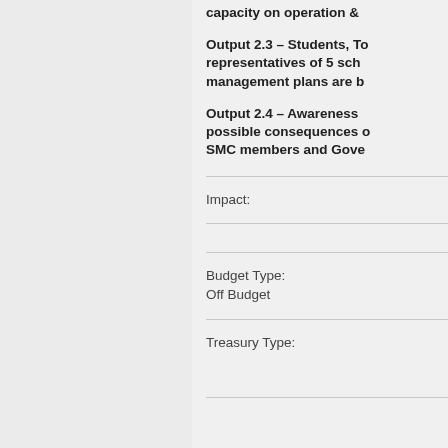capacity on operation &
Output 2.3 – Students, To representatives of 5 sch management plans are b
Output 2.4 – Awareness possible consequences o SMC members and Gove
Impact:
Budget Type:
Off Budget
Treasury Type: